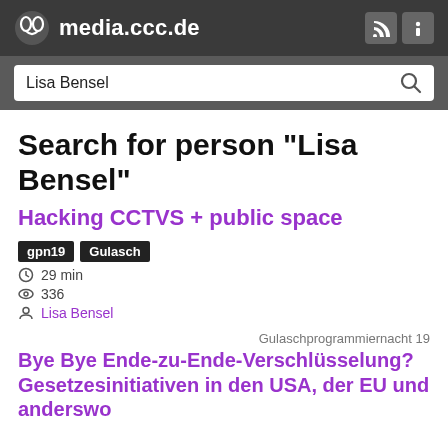media.ccc.de
Lisa Bensel
Search for person "Lisa Bensel"
Hacking CCTVS + public space
gpn19  Gulasch
29 min
336
Lisa Bensel
Gulaschprogrammiernacht 19
Bye Bye Ende-zu-Ende-Verschlüsselung? Gesetzesinitiativen in den USA, der EU und anderswo